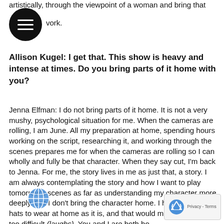artistically, through the viewpoint of a woman and bring that work.
Allison Kugel: I get that. This show is heavy and intense at times. Do you bring parts of it home with you?
Jenna Elfman: I do not bring parts of it home. It is not a very mushy, psychological situation for me. When the cameras are rolling, I am June. All my preparation at home, spending hours working on the script, researching it, and working through the scenes prepares me for when the cameras are rolling so I can wholly and fully be that character. When they say cut, I'm back to Jenna. For me, the story lives in me as just that, a story. I am always contemplating the story and how I want to play tomorrow's scenes as far as understanding my character more deeply. But I don't bring the character home. I have too many hats to wear at home as it is, and that would make things way too difficult (laughs). You and I are both boy moms... and your son is very handsome, by the way.